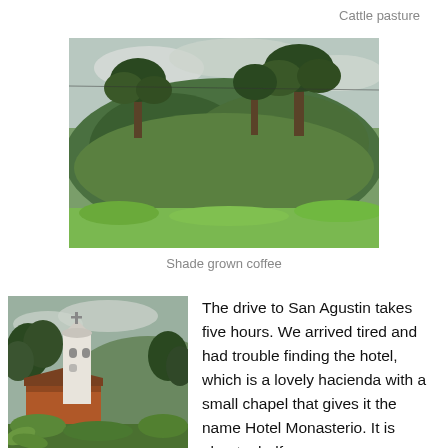Cattle pasture
[Figure (photo): Landscape photo showing a lush green hillside with shade-grown coffee plants and tall trees against a cloudy sky]
Shade grown coffee
[Figure (photo): Photo of a white church bell tower (Hotel Monasterio) surrounded by trees and tropical vegetation, with a red building visible]
The drive to San Agustin takes five hours. We arrived tired and had trouble finding the hotel, which is a lovely hacienda with a small chapel that gives it the name Hotel Monasterio. It is about a half